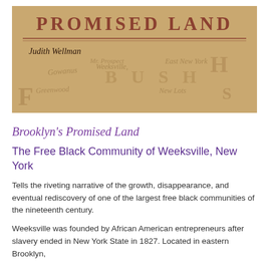[Figure (photo): Book cover of 'Promised Land' by Judith Wellman, showing an antique map background of Brooklyn with text overlay. The title 'PROMISED LAND' appears at top in large serif letters, with a horizontal rule beneath, and the author name 'Judith Wellman' below. Map shows place names including Weeksville, Flatbush, Gowanus, Greenwood, New Lots, East New York.]
Brooklyn's Promised Land
The Free Black Community of Weeksville, New York
Tells the riveting narrative of the growth, disappearance, and eventual rediscovery of one of the largest free black communities of the nineteenth century.
Weeksville was founded by African American entrepreneurs after slavery ended in New York State in 1827. Located in eastern Brooklyn,